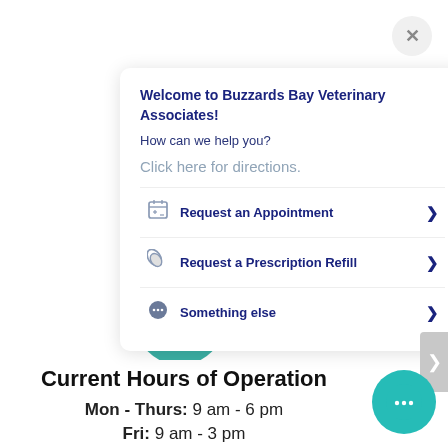[Figure (screenshot): Close (X) button in top-right corner]
Welcome to Buzzards Bay Veterinary Associates!
How can we help you?
Click here for directions.
Request an Appointment >
Request a Prescription Refill >
Something else >
[Figure (illustration): Teal circular illustration with calendar and bell]
Current Hours of Operation
Mon - Thurs: 9 am - 6 pm
Fri: 9 am - 3 pm